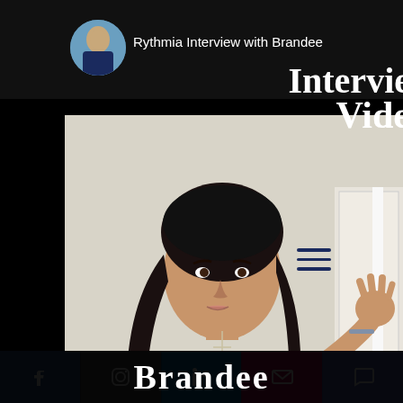Rythmia Interview with Brandee
Intervie
Vide
[Figure (photo): Woman with long dark hair wearing a denim vest and necklace, gesturing with one hand raised, taken in a selfie-style video frame. Hamburger menu icon overlay visible in center-right area.]
Brandee
[Figure (infographic): Social media icon bar with Facebook, Instagram, LinkedIn, Email/envelope, and Chat/comment buttons in colored boxes (blue, dark grey, blue, pink/magenta, indigo).]